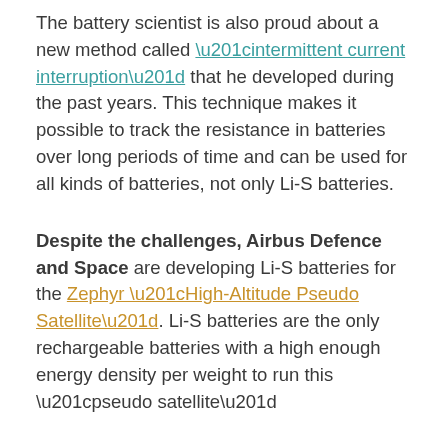The battery scientist is also proud about a new method called “intermittent current interruption” that he developed during the past years. This technique makes it possible to track the resistance in batteries over long periods of time and can be used for all kinds of batteries, not only Li-S batteries.
Despite the challenges, Airbus Defence and Space are developing Li-S batteries for the Zephyr “High-Altitude Pseudo Satellite”. Li-S batteries are the only rechargeable batteries with a high enough energy density per weight to run this “pseudo satellite”